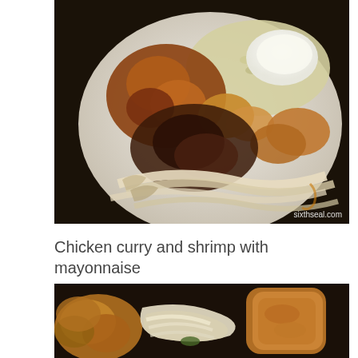[Figure (photo): Close-up photo of a plate of food featuring chicken curry, shrimp with mayonnaise on rice, and noodles. Watermark reads sixthseal.com in bottom right corner.]
Chicken curry and shrimp with mayonnaise
[Figure (photo): Partial close-up photo of a plate showing fried items, noodles, and other food items.]